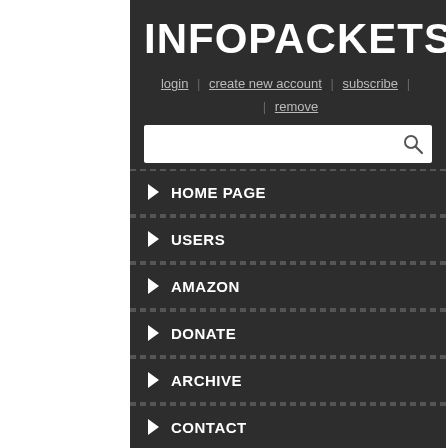INFOPACKETS
login | create new account | subscribe | remove
HOME PAGE
USERS
AMAZON
DONATE
ARCHIVE
CONTACT
Home › John Lister › T-Mobile Hit With $48 Million Penalty in 'Unlimited Data' Dispute